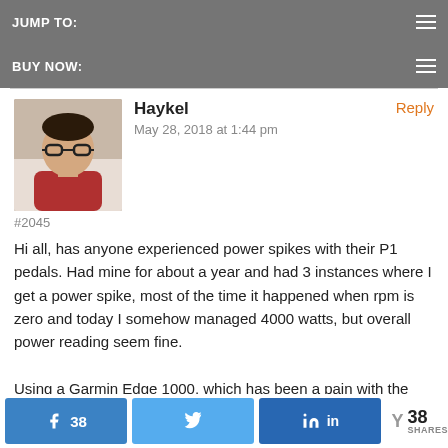JUMP TO:
BUY NOW:
Haykel
May 28, 2018 at 1:44 pm
#2045
Hi all, has anyone experienced power spikes with their P1 pedals. Had mine for about a year and had 3 instances where I get a power spike, most of the time it happened when rpm is zero and today I somehow managed 4000 watts, but overall power reading seem fine.

Using a Garmin Edge 1000, which has been a pain with the annoying right pedal missing error message and its inability to calibrate sometimes.